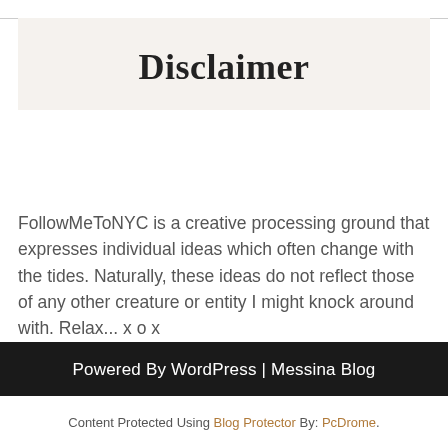Disclaimer
FollowMeToNYC is a creative processing ground that expresses individual ideas which often change with the tides. Naturally, these ideas do not reflect those of any other creature or entity I might knock around with. Relax... x o x
Powered By WordPress | Messina Blog
Content Protected Using Blog Protector By: PcDrome.